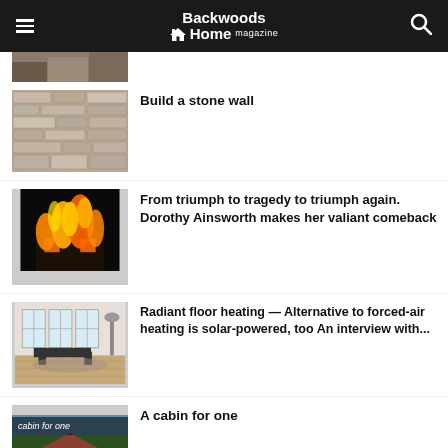Backwoods Home magazine
[Figure (photo): Partial thumbnail image of an article, cut off at top of visible area]
[Figure (photo): Stone wall texture — layered flat stones in tan and brown tones]
Build a stone wall
[Figure (photo): House on fire at night — dramatic orange flames engulfing a structure]
From triumph to tragedy to triumph again. Dorothy Ainsworth makes her valiant comeback
[Figure (photo): Bright modern interior room with large windows and wooden floor]
Radiant floor heating — Alternative to forced-air heating is solar-powered, too An interview with...
[Figure (photo): Cabin for one — small cabin with trees in background, text overlay reads 'cabin for one']
A cabin for one